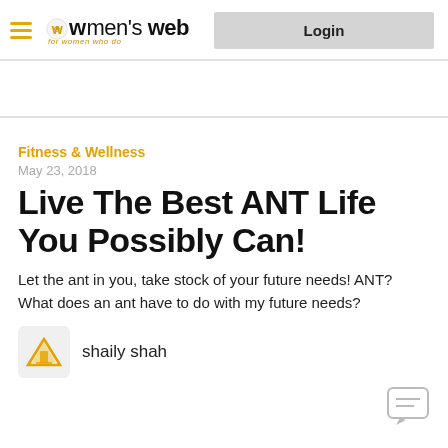women's web — Login
Fitness & Wellness
May 23, 2018
Live The Best ANT Life You Possibly Can!
Let the ant in you, take stock of your future needs! ANT? What does an ant have to do with my future needs?
shaily shah